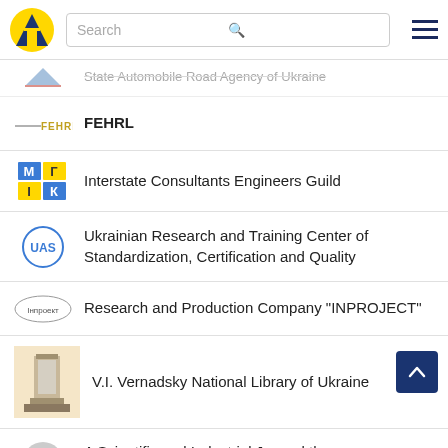State Automobile Road Agency of Ukraine — navigation bar with search
State Automobile Road Agency of Ukraine
FEHRL
Interstate Consultants Engineers Guild
Ukrainian Research and Training Center of Standardization, Certification and Quality
Research and Production Company "INPROJECT"
V.I. Vernadsky National Library of Ukraine
A Scientific and Industrial Journal the ...